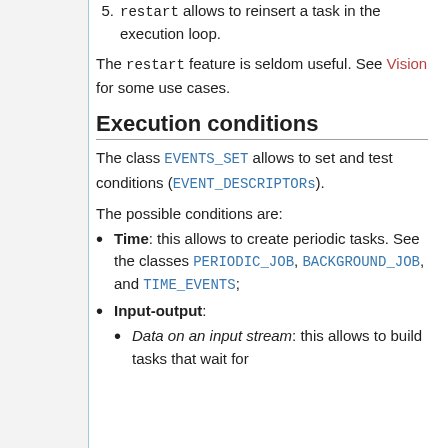5. restart allows to reinsert a task in the execution loop.
The restart feature is seldom useful. See Vision for some use cases.
Execution conditions
The class EVENTS_SET allows to set and test conditions (EVENT_DESCRIPTORs).
The possible conditions are:
Time: this allows to create periodic tasks. See the classes PERIODIC_JOB, BACKGROUND_JOB, and TIME_EVENTS;
Input-output:
Data on an input stream: this allows to build tasks that wait for